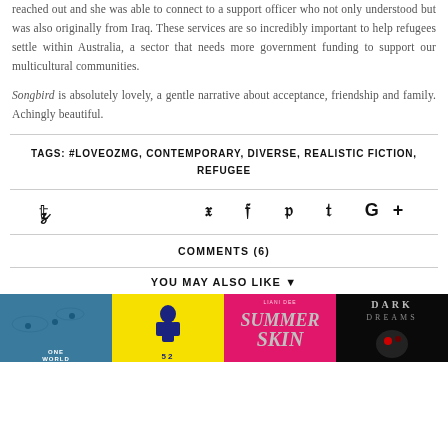reached out and she was able to connect to a support officer who not only understood but was also originally from Iraq. These services are so incredibly important to help refugees settle within Australia, a sector that needs more government funding to support our multicultural communities.
Songbird is absolutely lovely, a gentle narrative about acceptance, friendship and family. Achingly beautiful.
TAGS: #LOVEOZMG, CONTEMPORARY, DIVERSE, REALISTIC FICTION, REFUGEE
[Figure (infographic): Social media sharing icons: Twitter, Facebook, Pinterest, Tumblr, Google+]
COMMENTS (6)
YOU MAY ALSO LIKE ▾
[Figure (photo): Four book covers side by side: One World, a yellow book, Summer Skin (pink), Dark Dreams (black)]